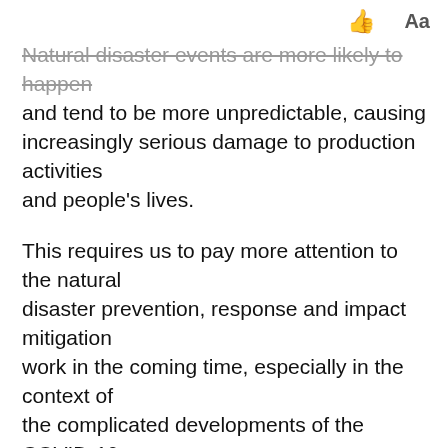👍  Aa
Natural disaster events are more likely to happen and tend to be more unpredictable, causing increasingly serious damage to production activities and people's lives.
This requires us to pay more attention to the natural disaster prevention, response and impact mitigation work in the coming time, especially in the context of the complicated developments of the COVID-19 pandemic in many localities, according to the Central Steering Committee for Natural Disaster Prevention and Control.
In order to proactively respond to the 'double disasters' of natural disasters and COVID-19 pandemic, the Vietnam Disaster Management